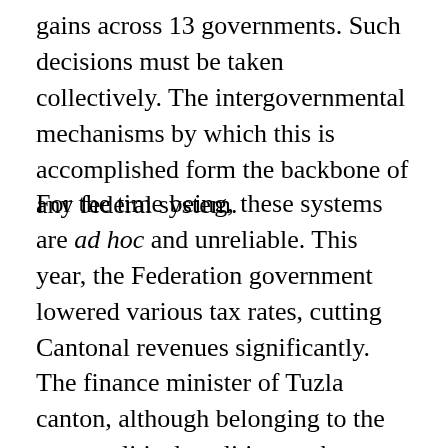gains across 13 governments. Such decisions must be taken collectively. The intergovernmental mechanisms by which this is accomplished form the backbone of any federal system.
For the time being, these systems are ad hoc and unreliable. This year, the Federation government lowered various tax rates, cutting Cantonal revenues significantly. The finance minister of Tuzla canton, although belonging to the same political coalition as the federation and state governments, recently complained that he had not been consulted in advance about the tax reform, and accordingly no adjustments had been